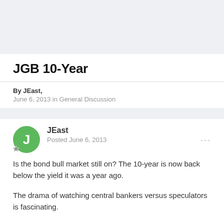[Figure (other): Top gray banner area]
JGB 10-Year
By JEast,
June 6, 2013 in General Discussion
[Figure (other): User avatar: green circle with letter J, badge icon below-left]
JEast
Posted June 6, 2013
Is the bond bull market still on?  The 10-year is now back below the yield it was a year ago.
The drama of watching central bankers versus speculators is fascinating.